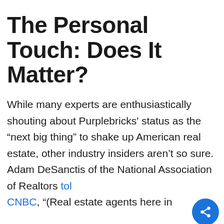The Personal Touch: Does It Matter?
While many experts are enthusiastically shouting about Purplebricks' status as the “next big thing” to shake up American real estate, other industry insiders aren’t so sure. Adam DeSanctis of the National Association of Realtors told CNBC, “(Real estate agents here in